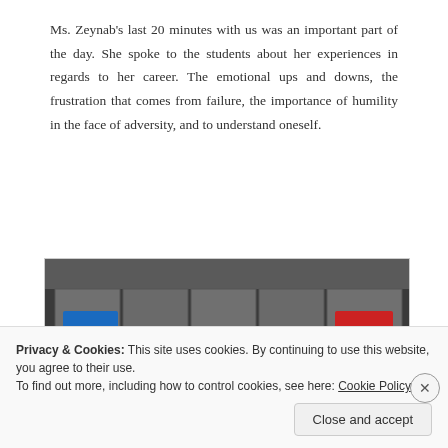Ms. Zeynab's last 20 minutes with us was an important part of the day. She spoke to the students about her experiences in regards to her career. The emotional ups and downs, the frustration that comes from failure, the importance of humility in the face of adversity, and to understand oneself.
[Figure (photo): Indoor seminar or workshop scene. Several people seated in a room with grey panel walls. A woman in black stands or sits centrally, flanked by a blue banner/display on the left and a red banner on the right. Other attendees are visible in the foreground with their backs to the camera.]
Privacy & Cookies: This site uses cookies. By continuing to use this website, you agree to their use.
To find out more, including how to control cookies, see here: Cookie Policy